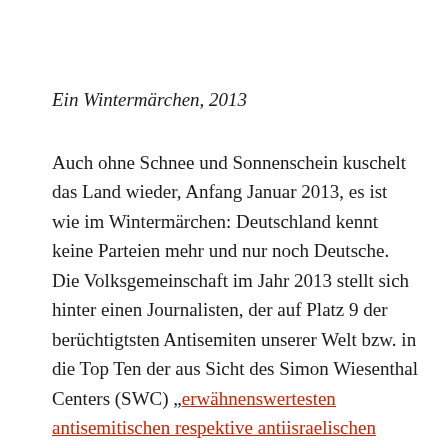Ein Wintermärchen, 2013
Auch ohne Schnee und Sonnenschein kuschelt das Land wieder, Anfang Januar 2013, es ist wie im Wintermärchen: Deutschland kennt keine Parteien mehr und nur noch Deutsche. Die Volksgemeinschaft im Jahr 2013 stellt sich hinter einen Journalisten, der auf Platz 9 der berüchtigtsten Antisemiten unserer Welt bzw. in die Top Ten der aus Sicht des Simon Wiesenthal Centers (SWC) „erwähnenswertesten antisemitischen respektive antiisraelischen Verunglimpfungen des vergangenen Jahres“ geraten ist. Was stört die Deutschen am meisten daran? Der Antisemitismus des Jakob Augstein und die